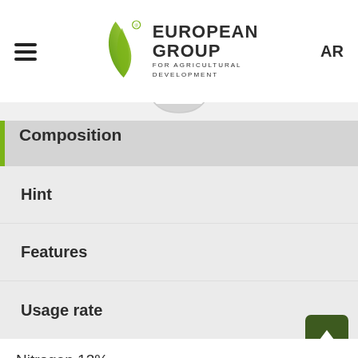European Group for Agricultural Development
Composition
Hint
Features
Usage rate
Nitrogen 13%
Calcium (CaO) 10%